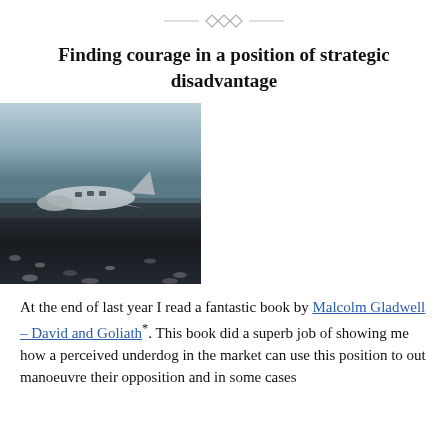◇◇◇
Finding courage in a position of strategic disadvantage
[Figure (photo): A crashed airplane on a dark rocky beach under a grey overcast sky, viewed from ground level with pebbles in the foreground.]
At the end of last year I read a fantastic book by Malcolm Gladwell – David and Goliath*. This book did a superb job of showing me how a perceived underdog in the market can use this position to out manoeuvre their opposition and in some cases...